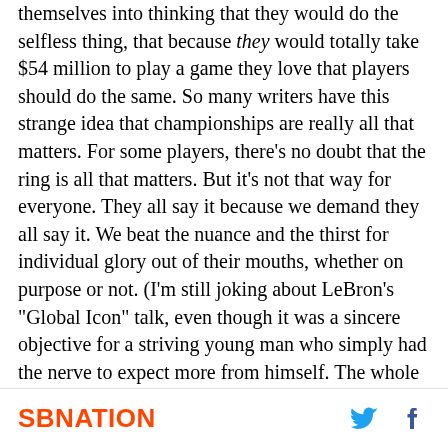themselves into thinking that they would do the selfless thing, that because they would totally take $54 million to play a game they love that players should do the same. So many writers have this strange idea that championships are really all that matters. For some players, there's no doubt that the ring is all that matters. But it's not that way for everyone. They all say it because we demand they all say it. We beat the nuance and the thirst for individual glory out of their mouths, whether on purpose or not. (I'm still joking about LeBron's "Global Icon" talk, even though it was a sincere objective for a striving young man who simply had the nerve to expect more from himself. The whole anti-individual mindset is embedded within us when it comes to team sports. It's a little unsettling how deep-
SBNATION